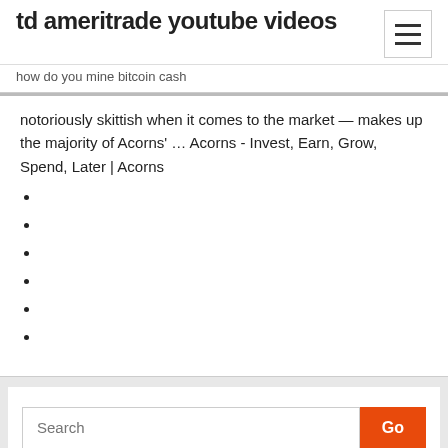td ameritrade youtube videos
how do you mine bitcoin cash
notoriously skittish when it comes to the market — makes up the majority of Acorns' … Acorns - Invest, Earn, Grow, Spend, Later | Acorns
Search